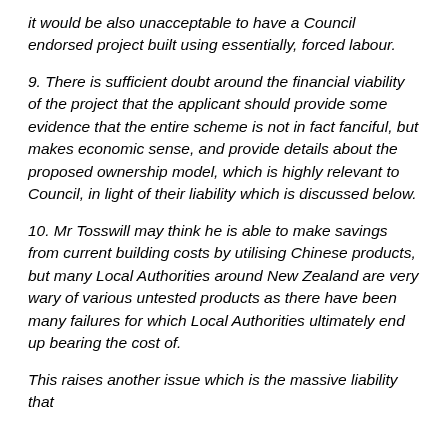it would be also unacceptable to have a Council endorsed project built using essentially, forced labour.
9. There is sufficient doubt around the financial viability of the project that the applicant should provide some evidence that the entire scheme is not in fact fanciful, but makes economic sense, and provide details about the proposed ownership model, which is highly relevant to Council, in light of their liability which is discussed below.
10. Mr Tosswill may think he is able to make savings from current building costs by utilising Chinese products, but many Local Authorities around New Zealand are very wary of various untested products as there have been many failures for which Local Authorities ultimately end up bearing the cost of.
This raises another issue which is the massive liability that